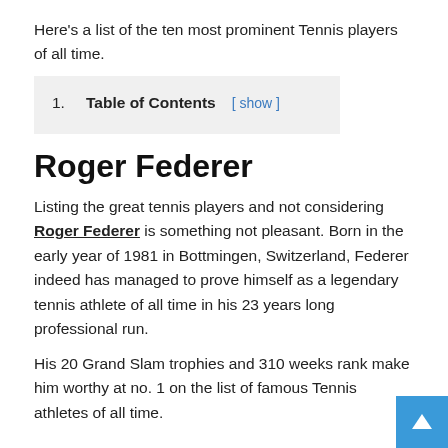Here's a list of the ten most prominent Tennis players of all time.
1. Table of Contents [ show ]
Roger Federer
Listing the great tennis players and not considering Roger Federer is something not pleasant. Born in the early year of 1981 in Bottmingen, Switzerland, Federer indeed has managed to prove himself as a legendary tennis athlete of all time in his 23 years long professional run.
His 20 Grand Slam trophies and 310 weeks rank make him worthy at no. 1 on the list of famous Tennis athletes of all time.